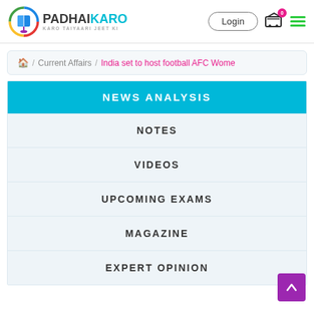[Figure (logo): PadhaiKaro logo with circular rainbow icon and text PADHAIKARO, KARO TAIYAARI JEET KI]
Login
🏠 / Current Affairs / India set to host football AFC Wome
NEWS ANALYSIS
NOTES
VIDEOS
UPCOMING EXAMS
MAGAZINE
EXPERT OPINION